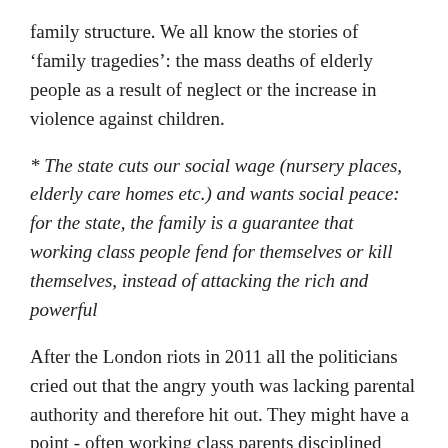family structure. We all know the stories of 'family tragedies': the mass deaths of elderly people as a result of neglect or the increase in violence against children.
* The state cuts our social wage (nursery places, elderly care homes etc.) and wants social peace: for the state, the family is a guarantee that working class people fend for themselves or kill themselves, instead of attacking the rich and powerful
After the London riots in 2011 all the politicians cried out that the angry youth was lacking parental authority and therefore hit out. They might have a point - often working class parents disciplined their kids to become 'good workers' and not cause trouble, being dependent on their future contribution to the family income. The ruling class lament the lack of parental control, but